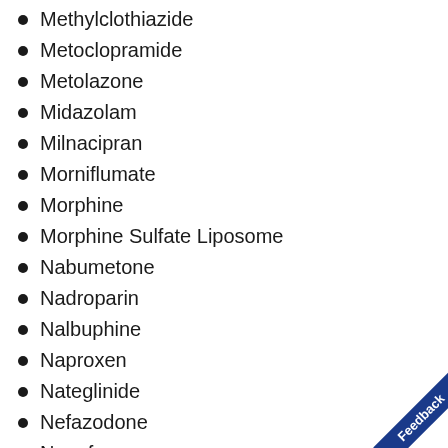Methylclothiazide
Metoclopramide
Metolazone
Midazolam
Milnacipran
Morniflumate
Morphine
Morphine Sulfate Liposome
Nabumetone
Nadroparin
Nalbuphine
Naproxen
Nateglinide
Nefazodone
Nepafenac
Nicorandil
Niflumic Acid
Nimesulide
Nimesulide Beta Cyclodextrin
Nitrazepam
Nortriptyline